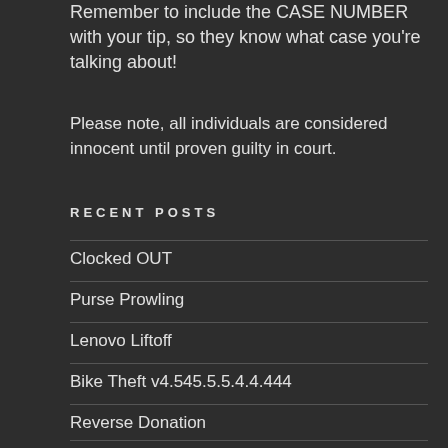Remember to include the CASE NUMBER with your tip, so they know what case you're talking about!
Please note, all individuals are considered innocent until proven guilty in court.
RECENT POSTS
Clocked OUT
Purse Prowling
Lenovo Liftoff
Bike Theft v4.545.5.5.4.4.444
Reverse Donation